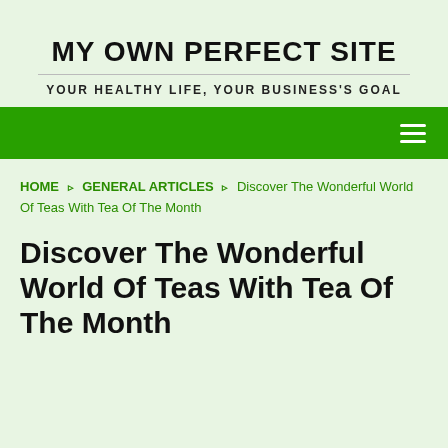MY OWN PERFECT SITE
YOUR HEALTHY LIFE, YOUR BUSINESS'S GOAL
Navigation bar with hamburger menu
HOME › GENERAL ARTICLES › Discover The Wonderful World Of Teas With Tea Of The Month
Discover The Wonderful World Of Teas With Tea Of The Month